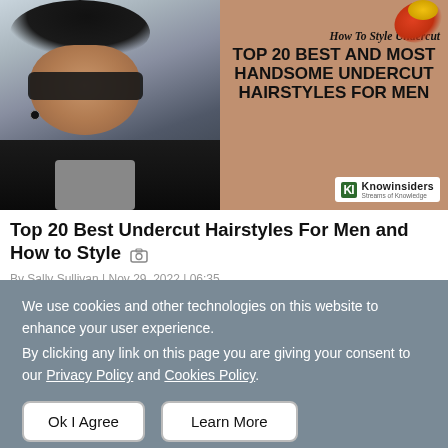[Figure (photo): Left half: photo of a man with an undercut hairstyle, wearing sunglasses and a black leather jacket. Right half: tan/brown background with decorative script text 'How To Style Undercut' and bold headline 'TOP 20 BEST AND MOST HANDSOME UNDERCUT HAIRSTYLES FOR MEN', with Knowinsiders logo at bottom right.]
Top 20 Best Undercut Hairstyles For Men and How to Style
We use cookies and other technologies on this website to enhance your user experience.
By clicking any link on this page you are giving your consent to our Privacy Policy and Cookies Policy.
Ok I Agree
Learn More